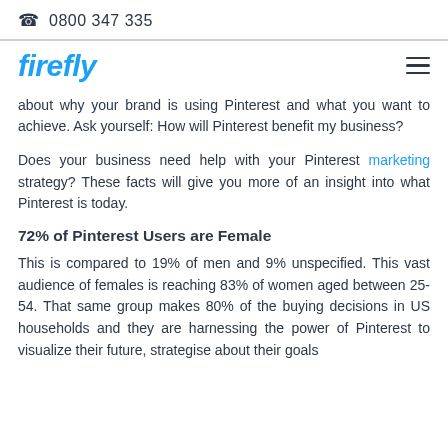0800 347 335
[Figure (logo): Firefly logo in blue italic bold text]
about why your brand is using Pinterest and what you want to achieve. Ask yourself: How will Pinterest benefit my business?
Does your business need help with your Pinterest marketing strategy? These facts will give you more of an insight into what Pinterest is today.
72% of Pinterest Users are Female
This is compared to 19% of men and 9% unspecified. This vast audience of females is reaching 83% of women aged between 25-54. That same group makes 80% of the buying decisions in US households and they are harnessing the power of Pinterest to visualize their future, strategise about their goals and…